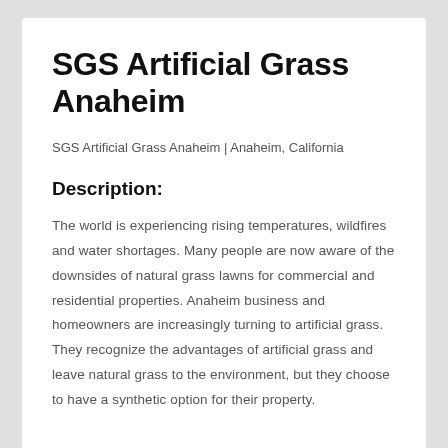SGS Artificial Grass Anaheim
SGS Artificial Grass Anaheim | Anaheim, California
Description:
The world is experiencing rising temperatures, wildfires and water shortages. Many people are now aware of the downsides of natural grass lawns for commercial and residential properties. Anaheim business and homeowners are increasingly turning to artificial grass. They recognize the advantages of artificial grass and leave natural grass to the environment, but they choose to have a synthetic option for their property.